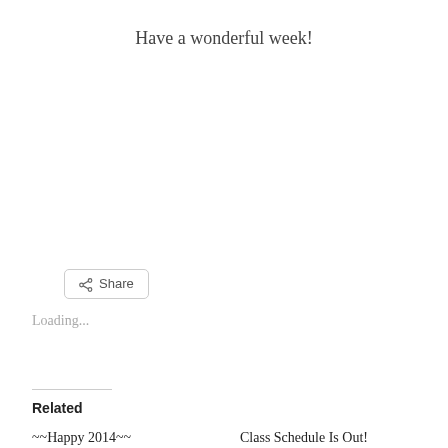Have a wonderful week!
Share
Loading...
Related
~~Happy 2014~~
January 15, 2014
In "blog"
Class Schedule Is Out!
February 3, 2015
Block of the Month Class
August 6, 2015